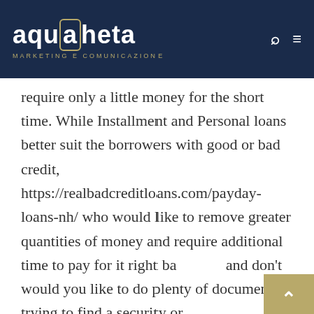aquaCheta MARKETING E COMUNICAZIONE
require only a little money for the short time. While Installment and Personal loans better suit the borrowers with good or bad credit, https://realbadcreditloans.com/payday-loans-nh/ who would like to remove greater quantities of money and require additional time to pay for it right back and don't would you like to do plenty of documents trying to find a security or